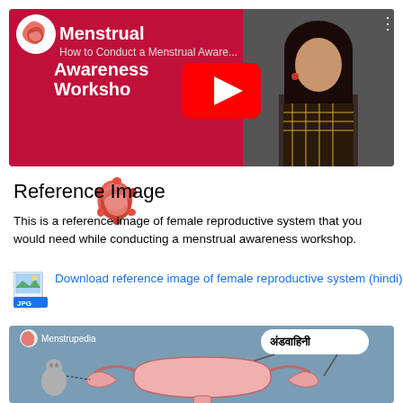[Figure (screenshot): YouTube video thumbnail for 'How to Conduct a Menstrual Awareness Workshop' showing a woman and the Menstrupedia logo with a YouTube play button overlay]
[Figure (logo): Menstrupedia swirl logo in red/pink]
Reference Image
This is a reference image of female reproductive system that you would need while conducting a menstrual awareness workshop.
Download reference image of female reproductive system (hindi)
[Figure (illustration): Menstrupedia illustration of female reproductive system with Hindi label 'अंडवाहिनी' (fallopian tube) and anatomical diagram showing uterus and ovaries]